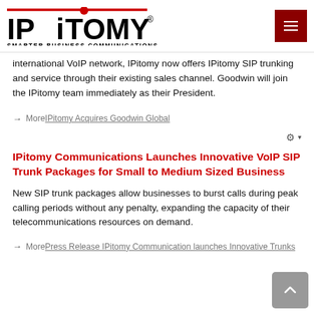IPitomy SMARTER BUSINESS COMMUNICATIONS
international VoIP network, IPitomy now offers IPitomy SIP trunking and service through their existing sales channel. Goodwin will join the IPitomy team immediately as their President.
→ MoreIPitomy Acquires Goodwin Global
⚙ ▾
IPitomy Communications Launches Innovative VoIP SIP Trunk Packages for Small to Medium Sized Business
New SIP trunk packages allow businesses to burst calls during peak calling periods without any penalty, expanding the capacity of their telecommunications resources on demand.
→ MorePress Release IPitomy Communication launches Innovative Trunks